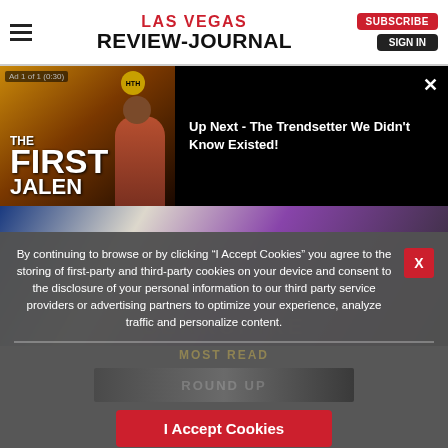LAS VEGAS REVIEW-JOURNAL
[Figure (screenshot): Video ad thumbnail for 'The First Jalen' showing a man in a red suit with text overlay. Shows 'Ad 1 of 1 (0:30)' badge and HTH logo circle.]
Up Next - The Trendsetter We Didn't Know Existed!
[Figure (photo): Close-up photo of Berkshire Hathaway branding/material with blue, white and purple colors]
By continuing to browse or by clicking “I Accept Cookies” you agree to the storing of first-party and third-party cookies on your device and consent to the disclosure of your personal information to our third party service providers or advertising partners to optimize your experience, analyze traffic and personalize content.
I Accept Cookies